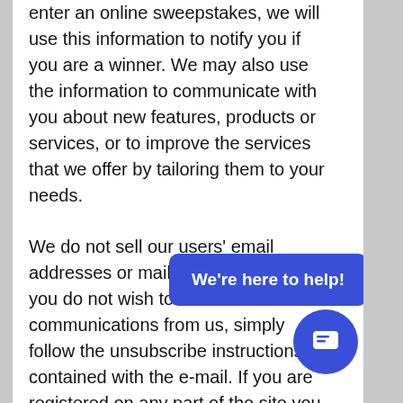enter an online sweepstakes, we will use this information to notify you if you are a winner. We may also use the information to communicate with you about new features, products or services, or to improve the services that we offer by tailoring them to your needs.
We do not sell our users' email addresses or mailing addresses. If you do not wish to receive communications from us, simply follow the unsubscribe instructions contained with the e-mail. If you are registered on any part of the site you may also change or update preferences or information with the site where you have signed up, registered or created any type of account.
We do also use auto-populated data with this b...